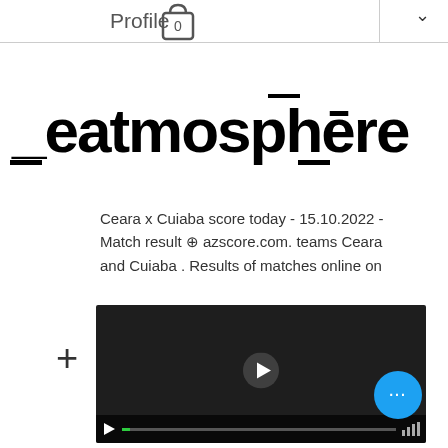Profile
_eatmosphēre
About
Ceara x Cuiaba score today - 15.10.2022 - Match result ⊕ azscore.com. teams Ceara and Cuiaba . Results of matches online on
[Figure (screenshot): Dark video player with play button in center, progress bar at bottom, and blue more-options button overlay]